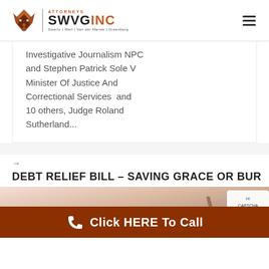SWVG Attorneys Inc
Investigative Journalism NPC and Stephen Patrick Sole V Minister Of Justice And Correctional Services and 10 others, Judge Roland Sutherland...
→
DEBT RELIEF BILL – SAVING GRACE OR BUR
[Figure (photo): Photo of a person writing or working at a desk, blurred background]
Click HERE To Call